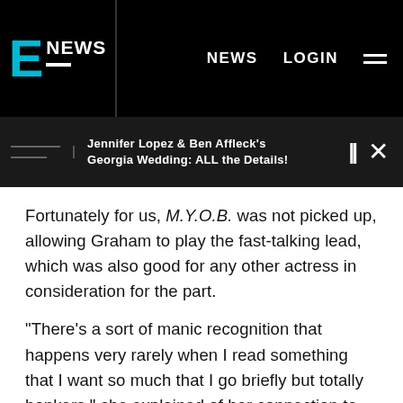E! NEWS | NEWS | LOGIN
Jennifer Lopez & Ben Affleck's Georgia Wedding: ALL the Details!
Fortunately for us, M.Y.O.B. was not picked up, allowing Graham to play the fast-talking lead, which was also good for any other actress in consideration for the part.
"There's a sort of manic recognition that happens very rarely when I read something that I want so much that I go briefly but totally bonkers," she explained of her connection to the character after reading the script. "That feeling is a combination of 'Hello, old friend.' meets EVERYONE GET OUT OF MY